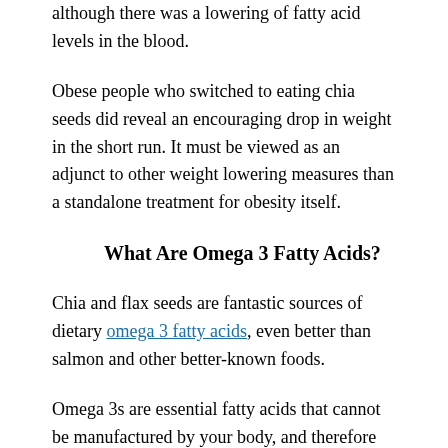although there was a lowering of fatty acid levels in the blood.
Obese people who switched to eating chia seeds did reveal an encouraging drop in weight in the short run. It must be viewed as an adjunct to other weight lowering measures than a standalone treatment for obesity itself.
What Are Omega 3 Fatty Acids?
Chia and flax seeds are fantastic sources of dietary omega 3 fatty acids, even better than salmon and other better-known foods.
Omega 3s are essential fatty acids that cannot be manufactured by your body, and therefore must be provided only through dietary sources. There are 3 kinds – DHA or docosa hexaenoic acid, EPA or eicosa pentanoic acid, and